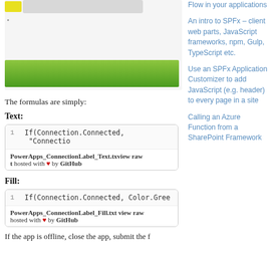[Figure (screenshot): Screenshot showing a blurred header bar with yellow avatar icon and a green horizontal bar below, representing a PowerApps connection label UI.]
The formulas are simply:
Text:
[Figure (screenshot): Code block showing: 1   If(Connection.Connected, "Connectio... with footer: PowerApps_ConnectionLabel_Text.txview raw t hosted with ♥ by GitHub]
Fill:
[Figure (screenshot): Code block showing: 1   If(Connection.Connected, Color.Gree... with footer: PowerApps_ConnectionLabel_Fill.txt view raw hosted with ♥ by GitHub]
If the app is offline, close the app, submit the f...
Flow in your applications
An intro to SPFx – client web parts, JavaScript frameworks, npm, Gulp, TypeScript etc.
Use an SPFx Application Customizer to add JavaScript (e.g. header) to every page in a site
Calling an Azure Function from a SharePoint Framework